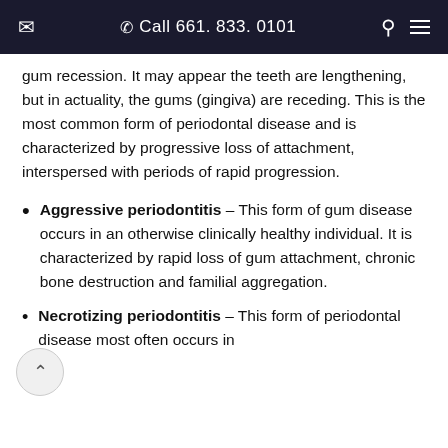✉  ✆ Call 661. 833. 0101  ⚲ ≡
gum recession.  It may appear the teeth are lengthening, but in actuality, the gums (gingiva) are receding.  This is the most common form of periodontal disease and is characterized by progressive loss of attachment, interspersed with periods of rapid progression.
Aggressive periodontitis – This form of gum disease occurs in an otherwise clinically healthy individual.  It is characterized by rapid loss of gum attachment, chronic bone destruction and familial aggregation.
Necrotizing periodontitis – This form of periodontal disease most often occurs in